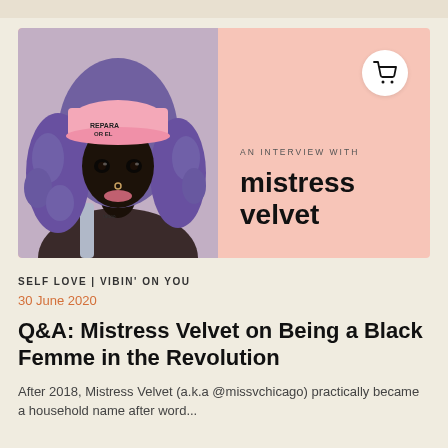[Figure (photo): Photo of Mistress Velvet, a Black woman with long purple curly hair wearing a pink baseball cap with text on it, looking directly at camera. Background is pink/salmon colored banner. Cart icon in top right corner. Text overlay reads 'AN INTERVIEW WITH' and 'mistress velvet'.]
SELF LOVE | VIBIN' ON YOU
30 June 2020
Q&A: Mistress Velvet on Being a Black Femme in the Revolution
After 2018, Mistress Velvet (a.k.a @missvchicago) practically became a household name after word...